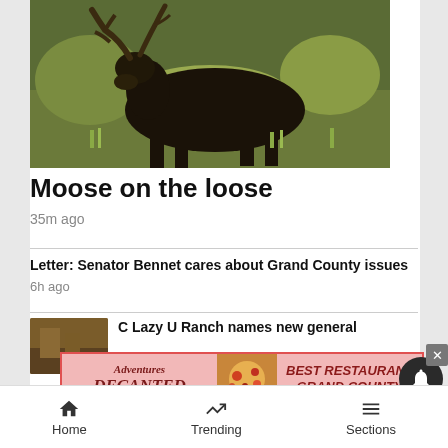[Figure (photo): A large bull moose with antlers grazing in a wild grassy/shrubby area with trees in the background]
Moose on the loose
35m ago
Letter: Senator Bennet cares about Grand County issues
6h ago
C Lazy U Ranch names new general
[Figure (illustration): Advertisement for Adventures Decanted featuring best restaurant Grand County award]
Home   Trending   Sections